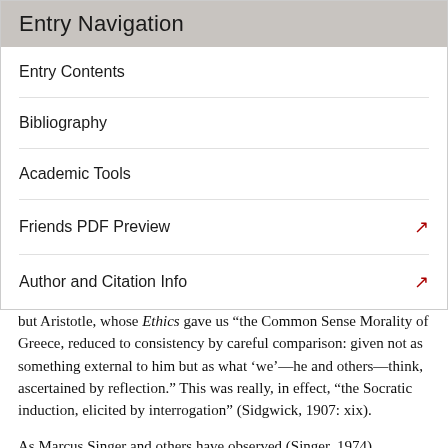Entry Navigation
Entry Contents
Bibliography
Academic Tools
Friends PDF Preview
Author and Citation Info
The model for such an approach is not Bentham or even J. S. Mill, but Aristotle, whose Ethics gave us “the Common Sense Morality of Greece, reduced to consistency by careful comparison: given not as something external to him but as what ‘we’—he and others—think, ascertained by reflection.” This was really, in effect, “the Socratic induction, elicited by interrogation” (Sidgwick, 1907: xix).
As Marcus Singer and others have observed (Singer, 1974), Sidgwick’s notion of a “method” of ethics is not the same as that of an ethical principle, ethical theory, or